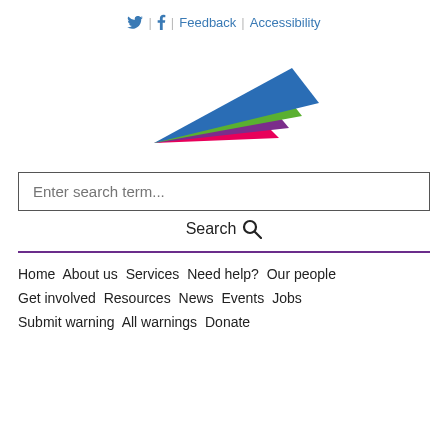🐦 | f | Feedback | Accessibility
[Figure (logo): Organization logo with multiple colored diagonal stripes (blue, green, purple, pink) fanning out to the right like spread fingers or rays.]
Enter search term...
Search 🔍
Home  About us  Services  Need help?  Our people  Get involved  Resources  News  Events  Jobs  Submit warning  All warnings  Donate